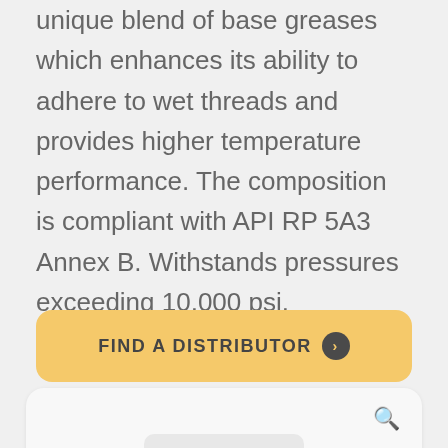unique blend of base greases which enhances its ability to adhere to wet threads and provides higher temperature performance. The composition is compliant with API RP 5A3 Annex B. Withstands pressures exceeding 10,000 psi.
FIND A DISTRIBUTOR ❯
[Figure (screenshot): Search panel with magnifying glass icon and an inner rounded rectangle at the bottom center]